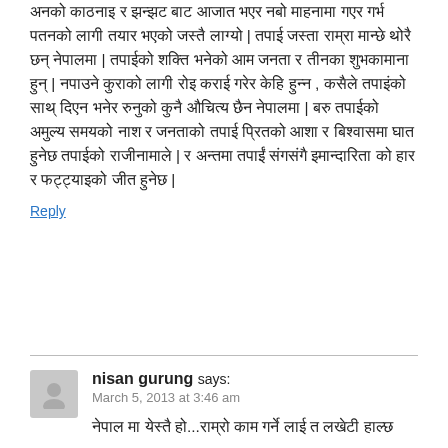अनको काठनाइ र झन्झट बाट आजात भएर नबो माहनामा गएर गर्भ पतनको लागी तयार भएको जस्तै लाग्यो | तपाई जस्ता राम्रा मान्छे थोरै छन् नेपालमा | तपाईको शक्ति भनेको आम जनता र तीनका शुभकामाना हुन् | नपाउने कुराको लागी रोइ कराई गरेर केहि हुन्न , कसैले तपाइंको साथ् दिएन भनेर रुनुको कुनै औचित्य छैन नेपालमा | बरु तपाईको अमुल्य समयको नाश र जनताको तपाई प्रितको आशा र बिश्वासमा घात हुनेछ तपाईको राजीनामाले | र अन्तमा तपाईं संगसंगै इमान्दारिता को हार र फट्ट्याइको जीत हुनेछ |
Reply
nisan gurung says:
March 5, 2013 at 3:46 am
नेपाल मा येस्तै हो...राम्रो काम गर्ने लाई त लखेटी हाल्छ